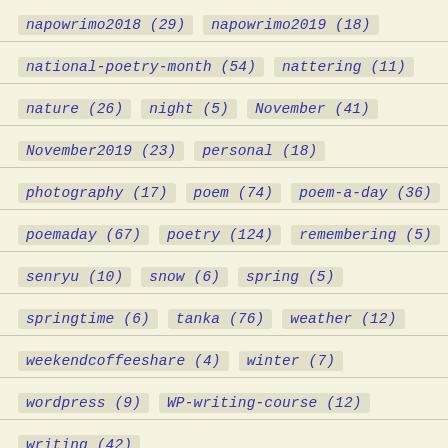napowrimo2018 (29)   napowrimo2019 (18)
national-poetry-month (54)   nattering (11)
nature (26)   night (5)   November (41)
November2019 (23)   personal (18)
photography (17)   poem (74)   poem-a-day (36)
poemaday (67)   poetry (124)   remembering (5)
senryu (10)   snow (6)   spring (5)
springtime (6)   tanka (76)   weather (12)
weekendcoffeeshare (4)   winter (7)
wordpress (9)   WP-writing-course (12)
writing (42)